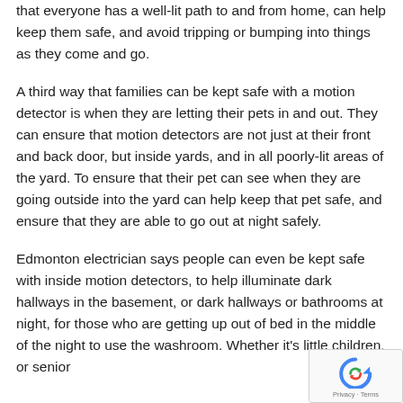that everyone has a well-lit path to and from home, can help keep them safe, and avoid tripping or bumping into things as they come and go.
A third way that families can be kept safe with a motion detector is when they are letting their pets in and out. They can ensure that motion detectors are not just at their front and back door, but inside yards, and in all poorly-lit areas of the yard. To ensure that their pet can see when they are going outside into the yard can help keep that pet safe, and ensure that they are able to go out at night safely.
Edmonton electrician says people can even be kept safe with inside motion detectors, to help illuminate dark hallways in the basement, or dark hallways or bathrooms at night, for those who are getting up out of bed in the middle of the night to use the washroom. Whether it's little children, or senior